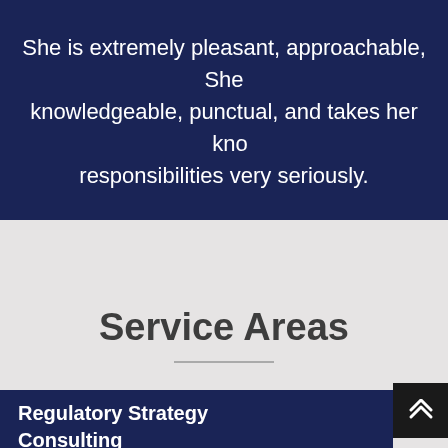She is extremely pleasant, approachable, knowledgeable, punctual, and takes her responsibilities very seriously.
Service Areas
Regulatory Strategy Consulting